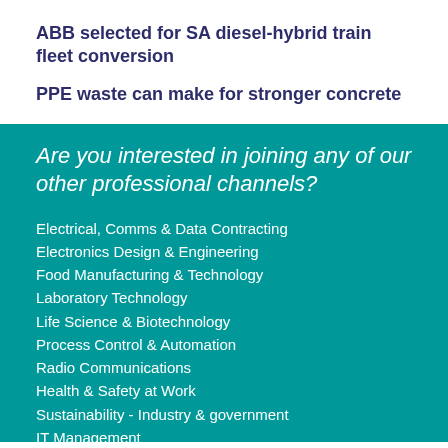ABB selected for SA diesel-hybrid train fleet conversion
PPE waste can make for stronger concrete
Are you interested in joining any of our other professional channels?
Electrical, Comms & Data Contracting
Electronics Design & Engineering
Food Manufacturing & Technology
Laboratory Technology
Life Science & Biotechnology
Process Control & Automation
Radio Communications
Health & Safety at Work
Sustainability - Industry & government
IT Management
Hospital + Healthcare
GovTech Review
Aged Health